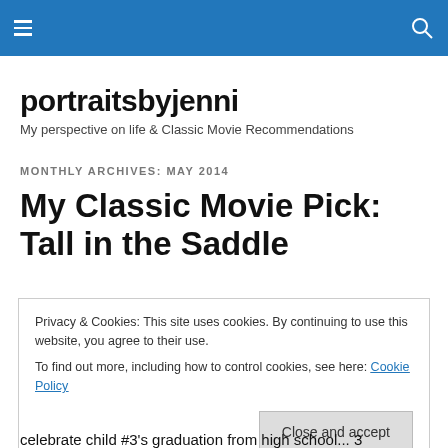portraitsbyjenni — header bar with menu and search icons
portraitsbyjenni
My perspective on life & Classic Movie Recommendations
MONTHLY ARCHIVES: MAY 2014
My Classic Movie Pick: Tall in the Saddle
Privacy & Cookies: This site uses cookies. By continuing to use this website, you agree to their use.
To find out more, including how to control cookies, see here: Cookie Policy
Close and accept
celebrate child #3's graduation from high school... 3